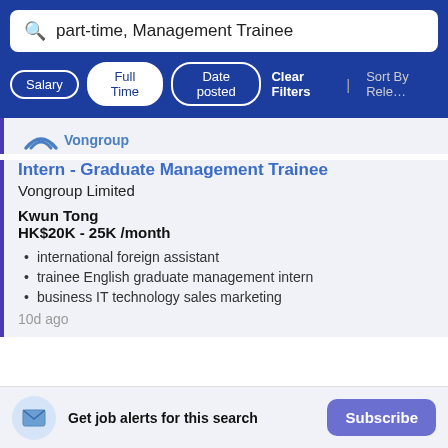part-time, Management Trainee
Salary | Full Time | Date posted | Clear Filters | Sort By Rele…
[Figure (logo): Vongroup company logo with blue arc/chevron icon]
Intern - Graduate Management Trainee
Vongroup Limited
Kwun Tong
HK$20K - 25K /month
international foreign assistant
trainee English graduate management intern
business IT technology sales marketing
10d ago
Get job alerts for this search